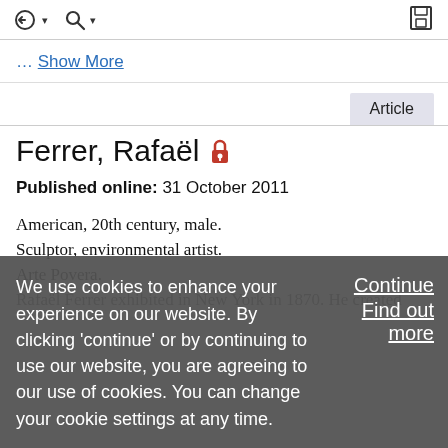... Show More
Ferrer, Rafaël 🔒
Published online: 31 October 2011
American, 20th century, male.
Sculptor, environmental artist.
Arte Povera.
Rafaël Ferrer exhibited in New York in 1970. He created...
We use cookies to enhance your experience on our website. By clicking 'continue' or by continuing to use our website, you are agreeing to our use of cookies. You can change your cookie settings at any time.